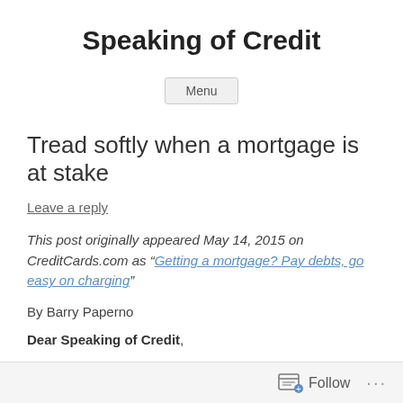Speaking of Credit
Menu
Tread softly when a mortgage is at stake
Leave a reply
This post originally appeared May 14, 2015 on CreditCards.com as “Getting a mortgage? Pay debts, go easy on charging”
By Barry Paperno
Dear Speaking of Credit,
Follow ...